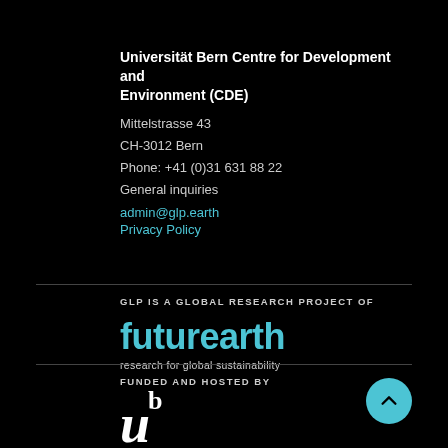Universität Bern Centre for Development and Environment (CDE)
Mittelstrasse 43
CH-3012 Bern
Phone: +41 (0)31 631 88 22
General inquiries
admin@glp.earth
Privacy Policy
GLP IS A GLOBAL RESEARCH PROJECT OF
[Figure (logo): Future Earth logo - 'futurearth' in cyan/teal with tagline 'research for global sustainability']
FUNDED AND HOSTED BY
[Figure (logo): Universität Bern logo - stylized italic 'u' with superscript 'b' in white]